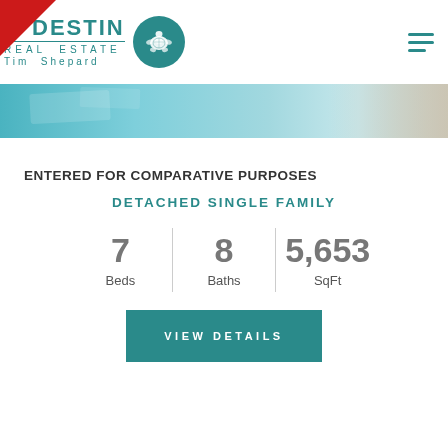[Figure (logo): Destin Real Estate Tim Shepard logo with teal turtle circle and red triangle corner accent]
[Figure (photo): Hero image showing a pool or waterside scene in teal/turquoise tones]
ENTERED FOR COMPARATIVE PURPOSES
DETACHED SINGLE FAMILY
7
Beds
8
Baths
5,653
SqFt
VIEW DETAILS